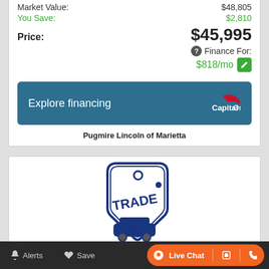Market Value: $48,805
You Save: $2,810
Price: $45,995
Finance For: $818/mo
[Figure (screenshot): Explore financing button with Capital One logo on teal/blue background]
Pugmire Lincoln of Marietta
[Figure (illustration): Trade-in icon showing a price tag with TRADE text and a car silhouette]
Alerts  Save  Live Chat